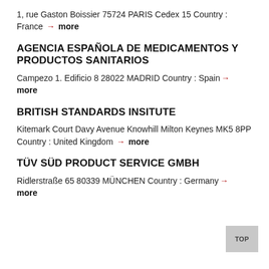1, rue Gaston Boissier 75724 PARIS Cedex 15 Country : France → more
AGENCIA ESPAÑOLA DE MEDICAMENTOS Y PRODUCTOS SANITARIOS
Campezo 1. Edificio 8 28022 MADRID Country : Spain → more
BRITISH STANDARDS INSITUTE
Kitemark Court Davy Avenue Knowhill Milton Keynes MK5 8PP Country : United Kingdom → more
TÜV SÜD PRODUCT SERVICE GMBH
Ridlerstraße 65 80339 MÜNCHEN Country : Germany → more